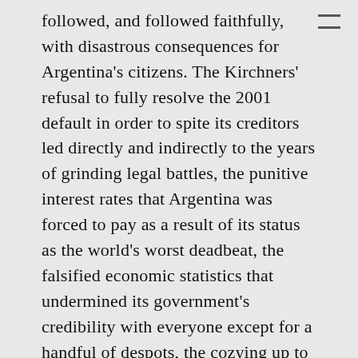followed, and followed faithfully, with disastrous consequences for Argentina's citizens. The Kirchners' refusal to fully resolve the 2001 default in order to spite its creditors led directly and indirectly to the years of grinding legal battles, the punitive interest rates that Argentina was forced to pay as a result of its status as the world's worst deadbeat, the falsified economic statistics that undermined its government's credibility with everyone except for a handful of despots, the cozying up to said despots that further undermined its global reputation, the spiraling inflation that punished its citizens as access to dollars became scarcer and scarcer – Stiglitz was there every step of the way, cheering for Cristina in the international media. And now that she's gone and someone more responsible is trying to